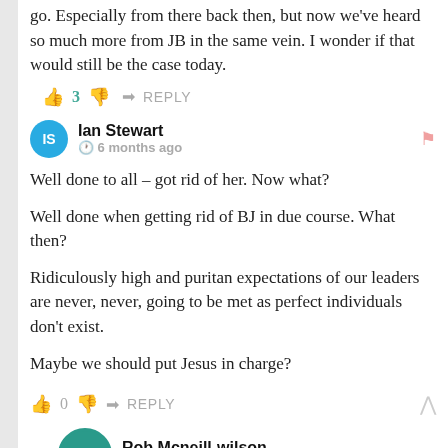go. Especially from there back then, but now we've heard so much more from JB in the same vein. I wonder if that would still be the case today.
👍 3  👎  ➜ REPLY
Ian Stewart  🕐 6 months ago
Well done to all – got rid of her. Now what?
Well done when getting rid of BJ in due course. What then?
Ridiculously high and puritan expectations of our leaders are never, never, going to be met as perfect individuals don't exist.
Maybe we should put Jesus in charge?
👍 0  👎  ➜ REPLY  ∧
Rob Mcneill-wilson  🕐 6 months ago